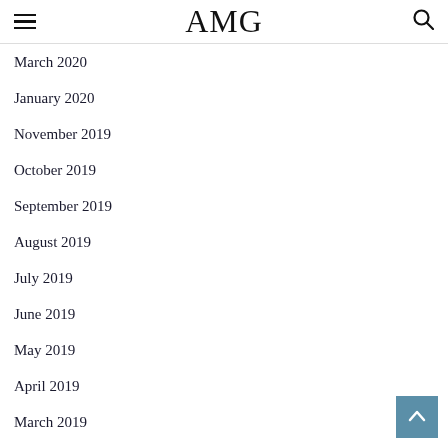AMG
March 2020
January 2020
November 2019
October 2019
September 2019
August 2019
July 2019
June 2019
May 2019
April 2019
March 2019
February 2019
January 2019
December 2018